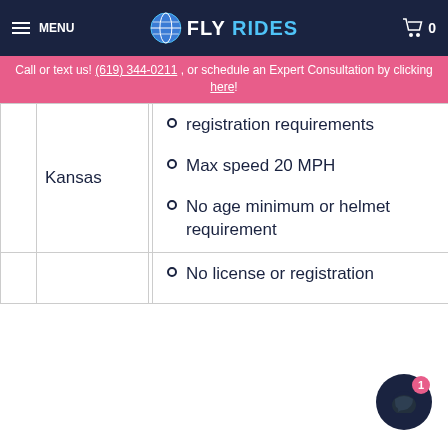MENU | FLY RIDES | 0
Call or text us! (619) 344-0211 , or schedule an Expert Consultation by clicking here!
|  | State | Rules |
| --- | --- | --- |
|  | Kansas | No license or registration requirements
Max speed 20 MPH
No age minimum or helmet requirement |
|  |  | No license or registration |